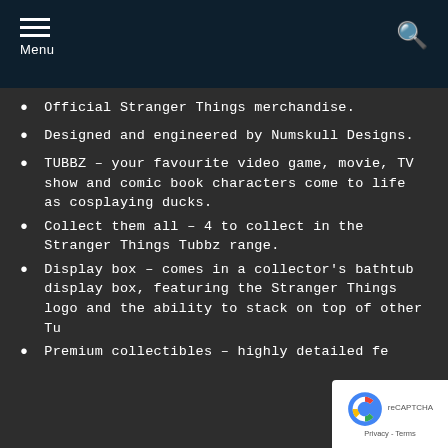Menu
Official Stranger Things merchandise.
Designed and engineered by Numskull Designs.
TUBBZ – your favourite video game, movie, TV show and comic book characters come to life as cosplaying ducks.
Collect them all – 4 to collect in the Stranger Things Tubbz range.
Display box – comes in a collector's bathtub display box, featuring the Stranger Things logo and the ability to stack on top of other Tu
Premium collectibles – highly detailed fe